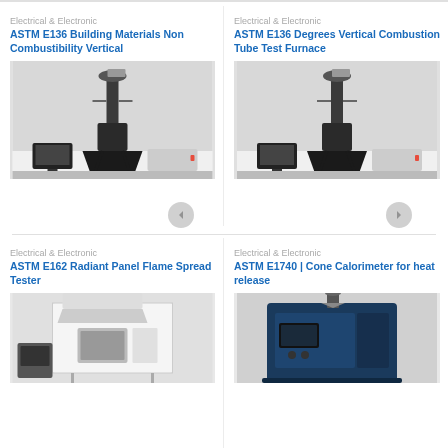Electrical & Electronic
ASTM E136 Building Materials Non Combustibility Vertical
[Figure (photo): Laboratory furnace apparatus for ASTM E136 building materials non combustibility vertical test, mounted on black base with computer monitor and equipment in background]
Electrical & Electronic
ASTM E136 Degrees Vertical Combustion Tube Test Furnace
[Figure (photo): Laboratory furnace apparatus for ASTM E136 degrees vertical combustion tube test, similar tall apparatus on black base with computer monitor and equipment in background]
Electrical & Electronic
ASTM E162 Radiant Panel Flame Spread Tester
[Figure (photo): ASTM E162 Radiant Panel Flame Spread Tester equipment, partially visible at bottom of page]
Electrical & Electronic
ASTM E1740 | Cone Calorimeter for heat release
[Figure (photo): Cone calorimeter equipment for heat release testing per ASTM E1740, dark blue/black unit partially visible at bottom of page]